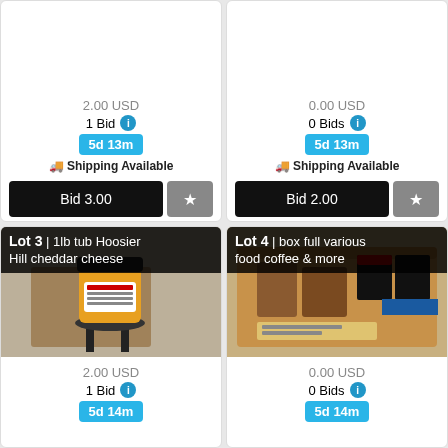2.00 USD
1 Bid
5d 13m
Shipping Available
Bid 3.00
0.00 USD
0 Bids
5d 13m
Shipping Available
Bid 2.00
Lot 3 | 1lb tub Hoosier Hill cheddar cheese
[Figure (photo): A jar of Hoosier Hill cheddar cheese powder on a black stool in a warehouse setting]
2.00 USD
1 Bid
5d 14m
Lot 4 | box full various food coffee & more
[Figure (photo): A cardboard box filled with various food items including coffee products and canned drinks]
0.00 USD
0 Bids
5d 14m